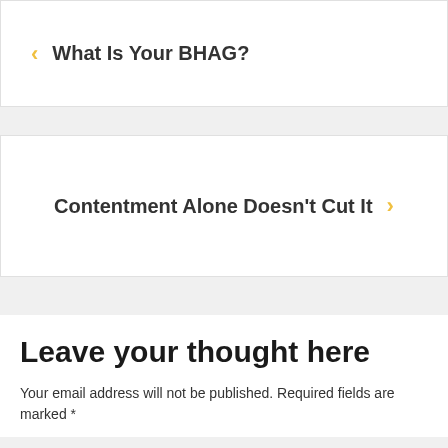< What Is Your BHAG?
Contentment Alone Doesn't Cut It >
Leave your thought here
Your email address will not be published. Required fields are marked *